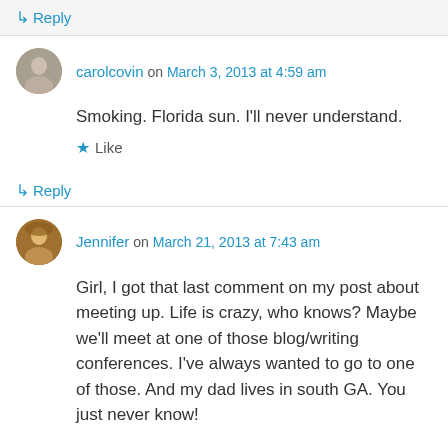↳ Reply
carolcovin on March 3, 2013 at 4:59 am
Smoking. Florida sun. I'll never understand.
★ Like
↳ Reply
Jennifer on March 21, 2013 at 7:43 am
Girl, I got that last comment on my post about meeting up. Life is crazy, who knows? Maybe we'll meet at one of those blog/writing conferences. I've always wanted to go to one of those. And my dad lives in south GA. You just never know!